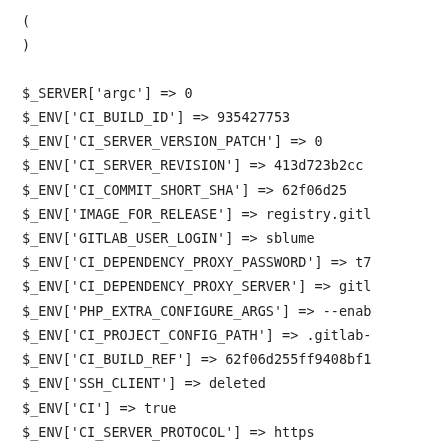(
)

$_SERVER['argc'] => 0
$_ENV['CI_BUILD_ID'] => 935427753
$_ENV['CI_SERVER_VERSION_PATCH'] => 0
$_ENV['CI_SERVER_REVISION'] => 413d723b2cc
$_ENV['CI_COMMIT_SHORT_SHA'] => 62f06d25
$_ENV['IMAGE_FOR_RELEASE'] => registry.gitl
$_ENV['GITLAB_USER_LOGIN'] => sblume
$_ENV['CI_DEPENDENCY_PROXY_PASSWORD'] => t7
$_ENV['CI_DEPENDENCY_PROXY_SERVER'] => gitl
$_ENV['PHP_EXTRA_CONFIGURE_ARGS'] => --enab
$_ENV['CI_PROJECT_CONFIG_PATH'] => .gitlab-
$_ENV['CI_BUILD_REF'] => 62f06d255ff9408bf1
$_ENV['SSH_CLIENT'] => deleted
$_ENV['CI'] => true
$_ENV['CI_SERVER_PROTOCOL'] => https
$_ENV['CI_PROJECT_NAME'] => alkemist-repo